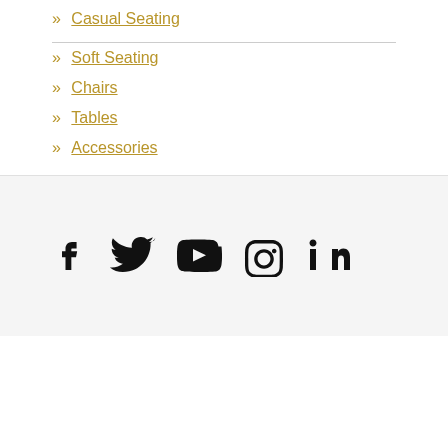» Casual Seating
» Soft Seating
» Chairs
» Tables
» Accessories
[Figure (infographic): Social media icons: Facebook, Twitter, YouTube, Instagram, LinkedIn]